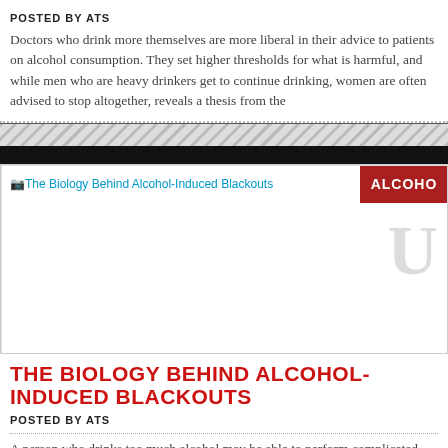POSTED BY ATS
Doctors who drink more themselves are more liberal in their advice to patients on alcohol consumption. They set higher thresholds for what is harmful, and while men who are heavy drinkers get to continue drinking, women are often advised to stop altogether, reveals a thesis from the
[Figure (screenshot): Article card image area for 'The Biology Behind Alcohol-Induced Blackouts' with a red badge reading 'ALCOHO' (truncated) and a faint large letter 'U' watermark on the right side]
THE BIOLOGY BEHIND ALCOHOL-INDUCED BLACKOUTS
POSTED BY ATS
A person who drinks too much alcohol may be able to perform complicated tasks, such as dancing, carrying on a conversation or even